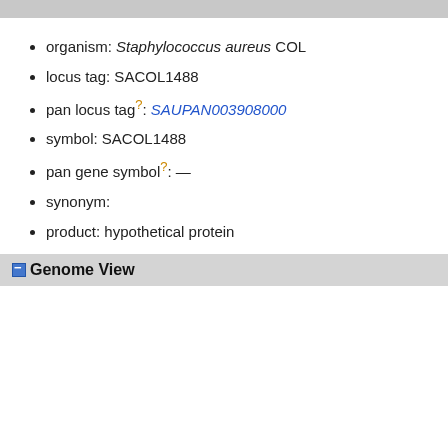organism: Staphylococcus aureus COL
locus tag: SACOL1488
pan locus tag?: SAUPAN003908000
symbol: SACOL1488
pan gene symbol?: —
synonym:
product: hypothetical protein
Genome View